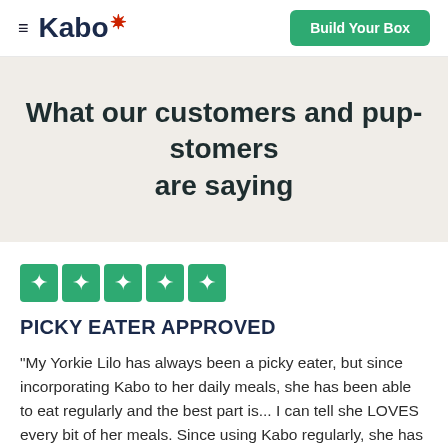≡ Kabo ✦  |  Build Your Box
What our customers and pup-stomers are saying
[Figure (other): Five green star rating boxes (Trustpilot-style 5-star rating)]
PICKY EATER APPROVED
"My Yorkie Lilo has always been a picky eater, but since incorporating Kabo to her daily meals, she has been able to eat regularly and the best part is... I can tell she LOVES every bit of her meals. Since using Kabo regularly, she has increased to a healthier weight. The